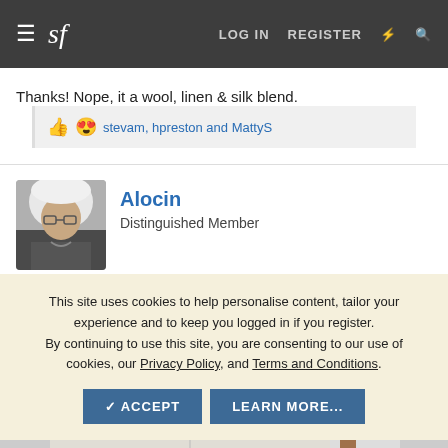sf | LOG IN  REGISTER
Thanks! Nope, it a wool, linen & silk blend.
👍😍 stevam, hpreston and MattyS
Alocin
Distinguished Member
This site uses cookies to help personalise content, tailor your experience and to keep you logged in if you register.
By continuing to use this site, you are consenting to our use of cookies, our Privacy Policy, and Terms and Conditions.
✓ ACCEPT   LEARN MORE...